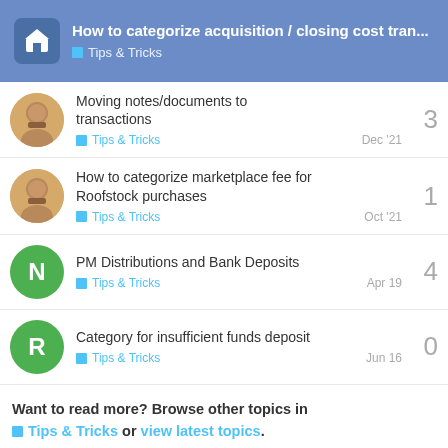How to categorize acquisition / closing cost tran... | Tips & Tricks
Moving notes/documents to transactions | Tips & Tricks | Dec '21 | 3 replies
How to categorize marketplace fee for Roofstock purchases | Tips & Tricks | Oct '21 | 1 reply
PM Distributions and Bank Deposits | Tips & Tricks | Apr 19 | 4 replies
Category for insufficient funds deposit | Tips & Tricks | Jun 16 | 0 replies
Want to read more? Browse other topics in Tips & Tricks or view latest topics.